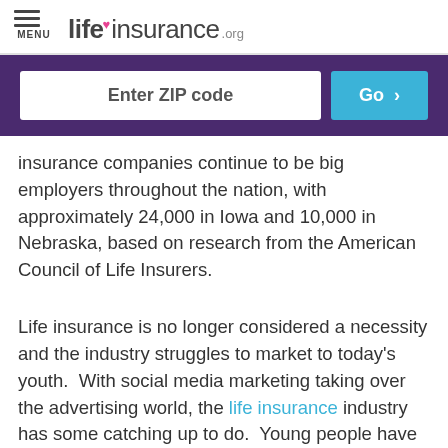MENU | lifeinsurance.org
[Figure (screenshot): ZIP code search bar with 'Enter ZIP code' input field and 'Go >' button on purple background]
insurance companies continue to be big employers throughout the nation, with approximately 24,000 in Iowa and 10,000 in Nebraska, based on research from the American Council of Life Insurers.
Life insurance is no longer considered a necessity and the industry struggles to market to today's youth. With social media marketing taking over the advertising world, the life insurance industry has some catching up to do. Young people have trouble justifying monthly premiums when they are not required by law and they have no direct impact on day to day life. Even though there are policies out there that offer more than a death benefit, many consumers are